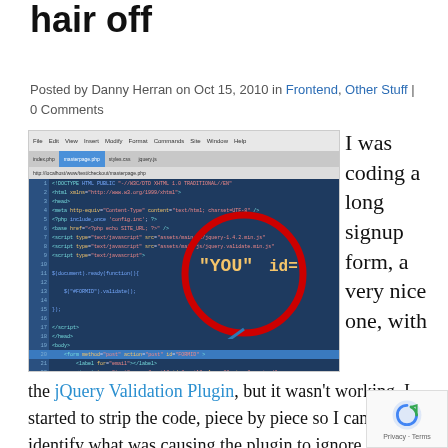hair off
Posted by Danny Herran on Oct 15, 2010 in Frontend, Other Stuff | 0 Comments
[Figure (screenshot): Screenshot of a code editor showing HTML/PHP code with a red circle highlighting a 'YOU' id attribute issue, and a blue arrow pointing to the relevant code line]
I was coding a long signup form, a very nice one, with the jQuery Validation Plugin, but it wasn't working. I started to strip the code, piece by piece so I can identify what was causing the plugin to ignore the form and I came up with the most stupid error you will ever seen in your